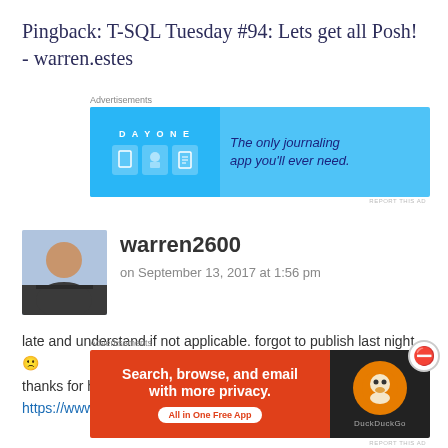Pingback: T-SQL Tuesday #94: Lets get all Posh! - warren.estes
[Figure (illustration): Day One journaling app advertisement banner with blue background showing app icons and text 'The only journaling app you'll ever need.']
warren2600
on September 13, 2017 at 1:56 pm
late and understand if not applicable. forgot to publish last night 🙁 thanks for hosting and the posh idea! https://www.warrenestes.com/t-sql-tuesday-94-lets-get-posh/
[Figure (illustration): DuckDuckGo advertisement banner with orange background on left saying 'Search, browse, and email with more privacy. All in One Free App' and dark background on right with DuckDuckGo duck logo.]